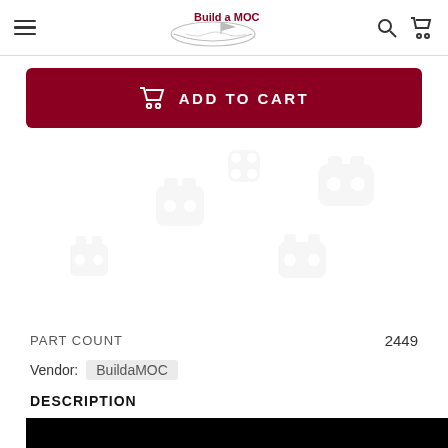Build a MOC
ADD TO CART
PART COUNT	2449
Vendor: BuildaMOC
DESCRIPTION
[Figure (screenshot): Black video thumbnail with white text: Levitation, a LEGO automaton]